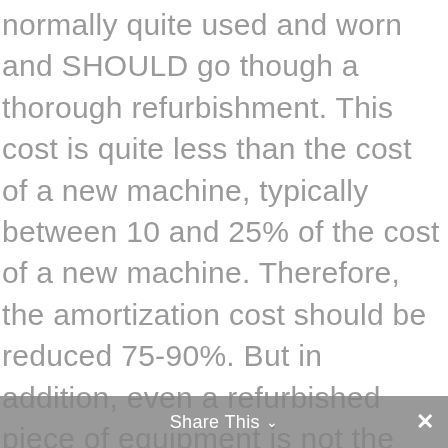normally quite used and worn and SHOULD go though a thorough refurbishment. This cost is quite less than the cost of a new machine, typically between 10 and 25% of the cost of a new machine. Therefore, the amortization cost should be reduced 75-90%. But in addition, even a refurbished piece of equipment is not the same as a new machine, we should expect a lower efficiency (more non-scheduled stops), and even a higher scrap level (more vibrations, more consumables, …). So yes, there should be a significant reduction of the amortization cost per piece, but not all of it. This is a nice discussion to have with companies to understand what's their
Share This ∨ ✕